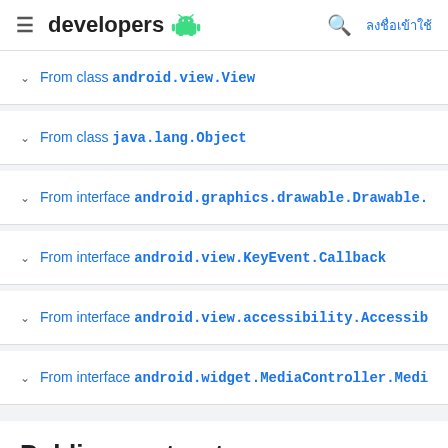developers [android logo] ลงชื่อเข้าใช้
From class android.view.View
From class java.lang.Object
From interface android.graphics.drawable.Drawable.Ca...
From interface android.view.KeyEvent.Callback
From interface android.view.accessibility.Accessibili...
From interface android.widget.MediaController.MediaP...
Public constructors